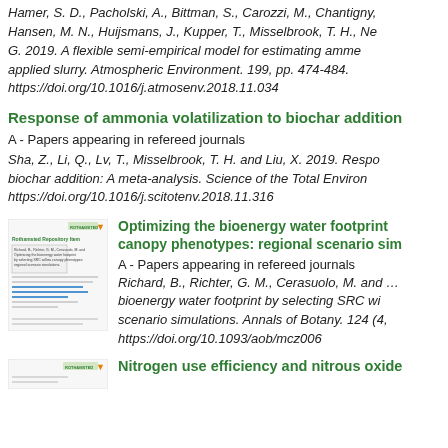Hamer, S. D., Pacholski, A., Bittman, S., Carozzi, M., Chantigny, Hansen, M. N., Huijsmans, J., Kupper, T., Misselbrook, T. H., Ne G. 2019. A flexible semi-empirical model for estimating ammo applied slurry. Atmospheric Environment. 199, pp. 474-484. https://doi.org/10.1016/j.atmosenv.2018.11.034
Response of ammonia volatilization to biochar addition
A - Papers appearing in refereed journals
Sha, Z., Li, Q., Lv, T., Misselbrook, T. H. and Liu, X. 2019. Respo biochar addition: A meta-analysis. Science of the Total Environ https://doi.org/10.1016/j.scitotenv.2018.11.316
Optimizing the bioenergy water footprint canopy phenotypes: regional scenario sim
A - Papers appearing in refereed journals
Richard, B., Richter, G. M., Cerasuolo, M. and ... bioenergy water footprint by selecting SRC wi scenario simulations. Annals of Botany. 124 (4, https://doi.org/10.1093/aob/mcz006
Nitrogen use efficiency and nitrous oxide